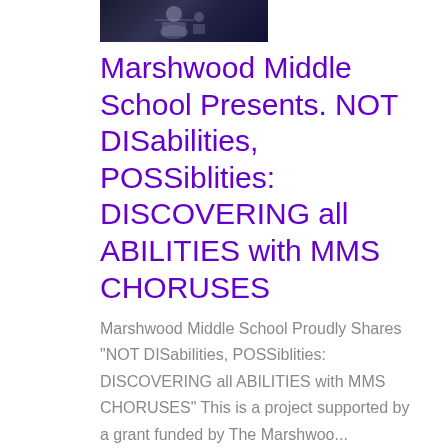[Figure (photo): Small thumbnail image of what appears to be a person or object, dark toned photograph]
Marshwood Middle School Presents. NOT DISabilities, POSSiblities: DISCOVERING all ABILITIES with MMS CHORUSES
Marshwood Middle School Proudly Shares "NOT DISabilities, POSSiblities: DISCOVERING all ABILITIES with MMS CHORUSES" This is a project supported by a grant funded by The Marshwoo...